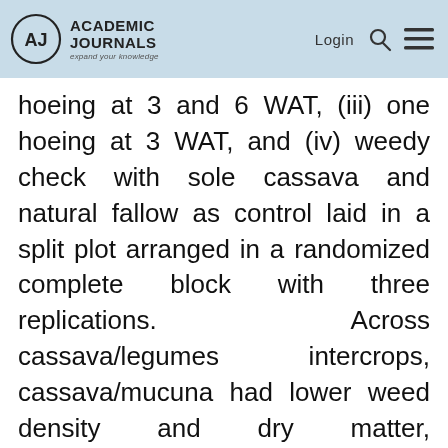Academic Journals | Login
hoeing at 3 and 6 WAT, (iii) one hoeing at 3 WAT, and (iv) weedy check with sole cassava and natural fallow as control laid in a split plot arranged in a randomized complete block with three replications. Across cassava/legumes intercrops, cassava/mucuna had lower weed density and dry matter, cassava/Aeschynomene and cassava/cowpea produced comparable taller rice plants, more rice panicles and paddy yield, and cassava/Aeschynomene produced greater number of rice tillers. Irrespective of the weed management practices, two hoeing at 3 and 6 WAT, gave better weed control